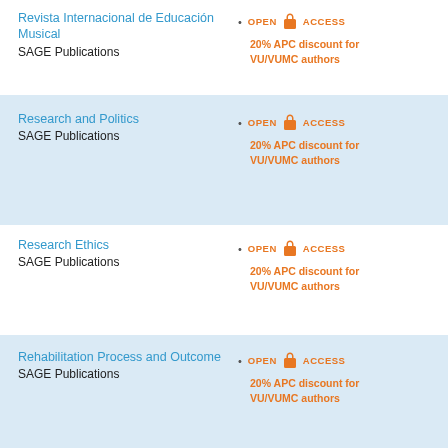Revista Internacional de Educación Musical
SAGE Publications
• OPEN ACCESS
20% APC discount for VU/VUMC authors
Research and Politics
SAGE Publications
• OPEN ACCESS
20% APC discount for VU/VUMC authors
Research Ethics
SAGE Publications
• OPEN ACCESS
20% APC discount for VU/VUMC authors
Rehabilitation Process and Outcome
SAGE Publications
• OPEN ACCESS
20% APC discount for VU/VUMC authors